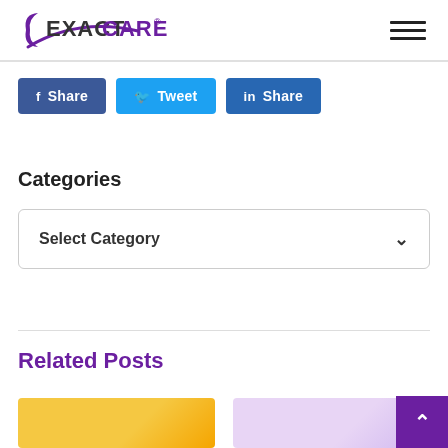ExactCare
Share (Facebook)
Tweet (Twitter)
Share (LinkedIn)
Categories
Select Category
Related Posts
[Figure (other): Post thumbnail preview cards at bottom of page]